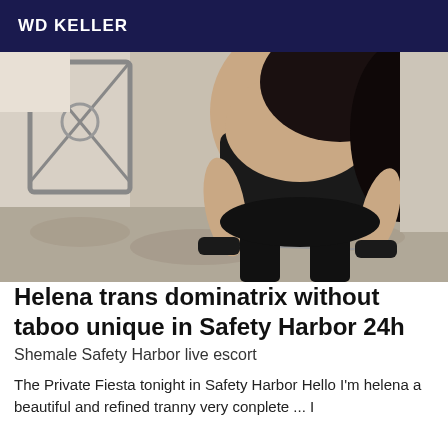WD KELLER
[Figure (photo): A person posing on a bed wearing black lingerie and leather wrist cuffs connected by a chain.]
Helena trans dominatrix without taboo unique in Safety Harbor 24h
Shemale Safety Harbor live escort
The Private Fiesta tonight in Safety Harbor Hello I'm helena a beautiful and refined tranny very conplete ... I